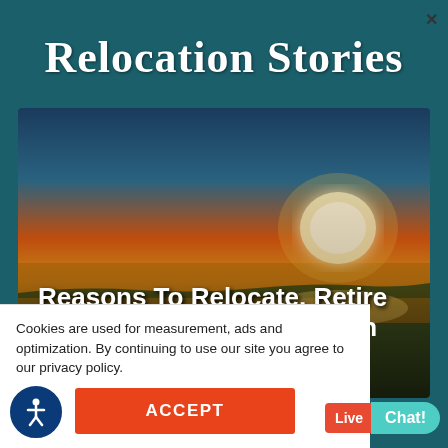Relocation Stories
[Figure (photo): Aerial sunset photo of Myrtle Beach coastal neighborhood with colorful houses along the shoreline, orange and golden sky with bright sun setting over the water, with text overlay reading 'Reasons To Relocate, Retire And Invest To Myrtle Beach In 2022']
Cookies are used for measurement, ads and optimization. By continuing to use our site you agree to our privacy policy.
ACCEPT
Live Chat!